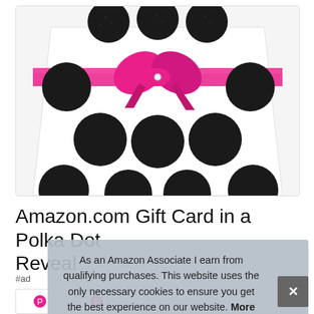[Figure (photo): Amazon gift card in a white polka dot box with large black glitter dots and a pink satin ribbon bow with a rhinestone center]
Amazon.com Gift Card in a Polka Dot Reveal
#ad
As an Amazon Associate I earn from qualifying purchases. This website uses the only necessary cookies to ensure you get the best experience on our website. More information